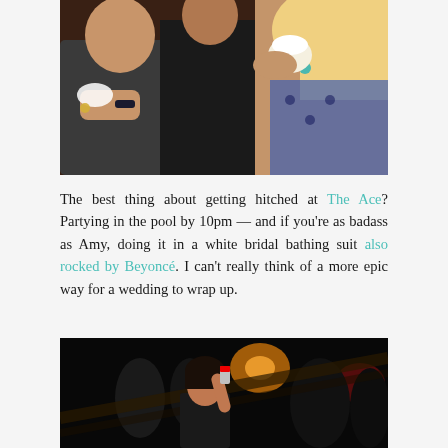[Figure (photo): Two people eating cupcakes at a party, blonde woman in patterned dress on right, dark background]
The best thing about getting hitched at The Ace? Partying in the pool by 10pm — and if you're as badass as Amy, doing it in a white bridal bathing suit also rocked by Beyoncé. I can't really think of a more epic way for a wedding to wrap up.
[Figure (photo): Dark nighttime party scene with people dancing, warm orange light in background, woman in foreground facing camera]